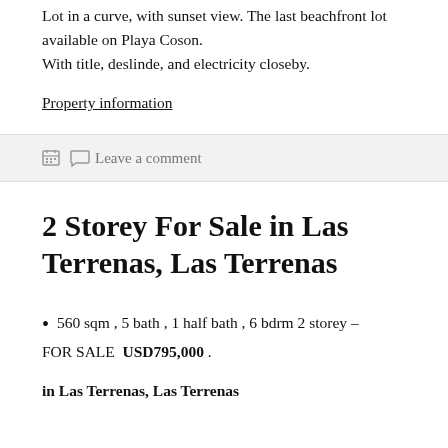Lot in a curve, with sunset view. The last beachfront lot available on Playa Coson.
With title, deslinde, and electricity closeby.
Property information
Leave a comment
2 Storey For Sale in Las Terrenas, Las Terrenas
560 sqm , 5 bath , 1 half bath , 6 bdrm 2 storey – FOR SALE  USD795,000 .
in Las Terrenas, Las Terrenas